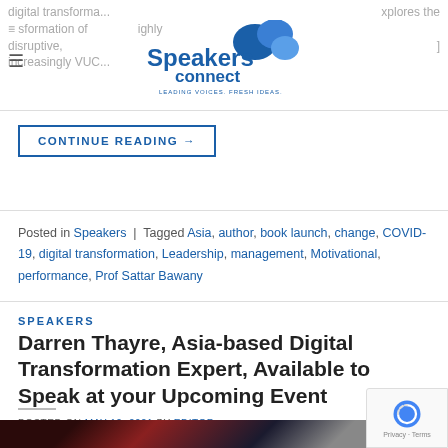digital transforma... xplores the transformation of ... highly disruptive, increasingly VUC... ]
CONTINUE READING →
Posted in Speakers | Tagged Asia, author, book launch, change, COVID-19, digital transformation, Leadership, management, Motivational, performance, Prof Sattar Bawany
SPEAKERS
Darren Thayre, Asia-based Digital Transformation Expert, Available to Speak at your Upcoming Event
POSTED ON MAY 12, 2021 BY EDITOR
[Figure (photo): Dark abstract background image with red curtain-like streaks and dark tones]